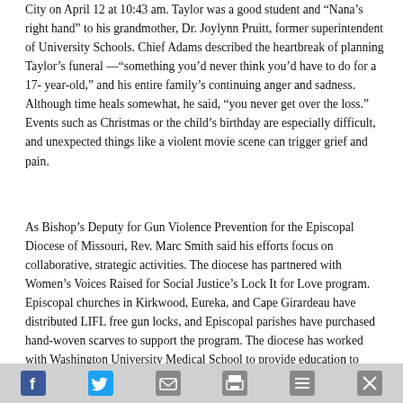City on April 12 at 10:43 am. Taylor was a good student and “Nana’s right hand” to his grandmother, Dr. Joylynn Pruitt, former superintendent of University Schools. Chief Adams described the heartbreak of planning Taylor’s funeral —“something you’d never think you’d have to do for a 17-year-old,” and his entire family’s continuing anger and sadness. Although time heals somewhat, he said, “you never get over the loss.” Events such as Christmas or the child’s birthday are especially difficult, and unexpected things like a violent movie scene can trigger grief and pain.
As Bishop’s Deputy for Gun Violence Prevention for the Episcopal Diocese of Missouri, Rev. Marc Smith said his efforts focus on collaborative, strategic activities. The diocese has partnered with Women’s Voices Raised for Social Justice’s Lock It for Love program. Episcopal churches in Kirkwood, Eureka, and Cape Girardeau have distributed LIFL free gun locks, and Episcopal parishes have purchased hand-woven scarves to support the program. The diocese has worked with Washington University Medical School to provide education to individuals and groups dealing with victims of gun violence who are experiencing chronic post-traumatic stress and grief. The American Hospital Association selected the diocese to participate in its gun violence prevention activities.